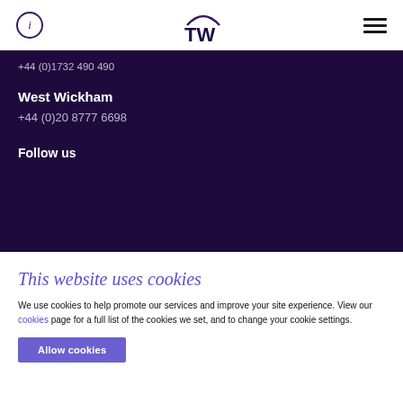i [TW logo] [hamburger menu]
+44 (0)1732 490 490
West Wickham
+44 (0)20 8777 6698
Follow us
This website uses cookies
We use cookies to help promote our services and improve your site experience. View our cookies page for a full list of the cookies we set, and to change your cookie settings.
Allow cookies